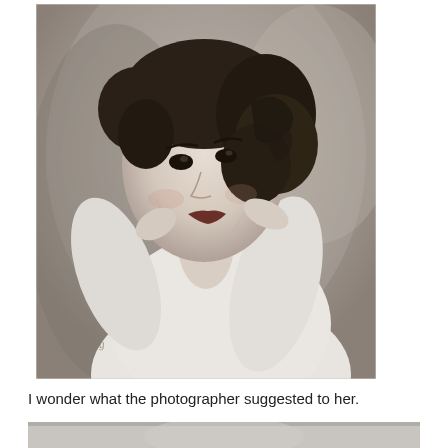[Figure (photo): Vintage black and white portrait photograph of a young woman with dark curly hair, wearing a white long-sleeve top, with her arms raised and hands behind her neck/head, looking upward. A handwritten signature or watermark appears in the lower left corner of the photo.]
I wonder what the photographer suggested to her.
[Figure (photo): Partial view of another vintage black and white photograph at the bottom of the page, cropped.]